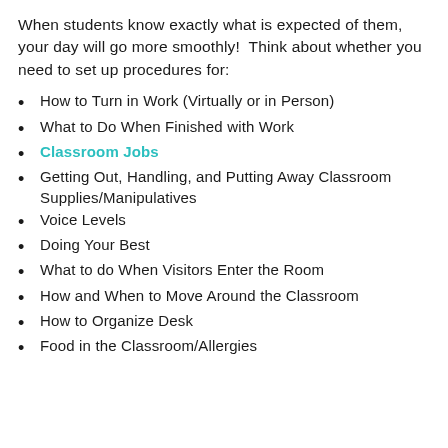When students know exactly what is expected of them, your day will go more smoothly!  Think about whether you need to set up procedures for:
How to Turn in Work (Virtually or in Person)
What to Do When Finished with Work
Classroom Jobs
Getting Out, Handling, and Putting Away Classroom Supplies/Manipulatives
Voice Levels
Doing Your Best
What to do When Visitors Enter the Room
How and When to Move Around the Classroom
How to Organize Desk
Food in the Classroom/Allergies